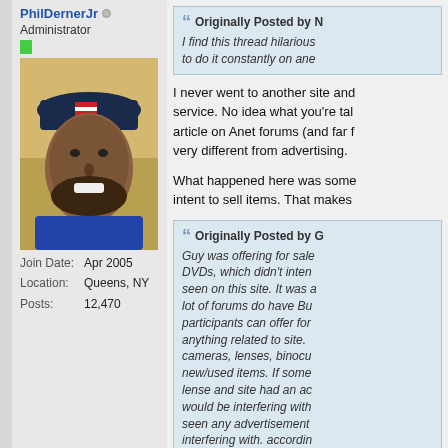PhilDernerJr
Administrator
[Figure (photo): Profile photo of a smiling bearded man wearing a dark blue cap with an American flag patch, outdoors]
Join Date: Apr 2005
Location: Queens, NY
Posts: 12,470
Originally Posted by N
I find this thread hilarious to do it constantly on ane
I never went to another site and service. No idea what you're talking article on Anet forums (and far f very different from advertising.
What happened here was some intent to sell items. That makes
Originally Posted by G
Guy was offering for sale DVDs, which didn't intern seen on this site. It was a lot of forums do have Bu participants can offer for anything related to site. cameras, lenses, binocu new/used items. If some lense and site had an ac would be interfering with seen any advertisement interfering with. accordin jetphotos tread shouldn't people sell their photos